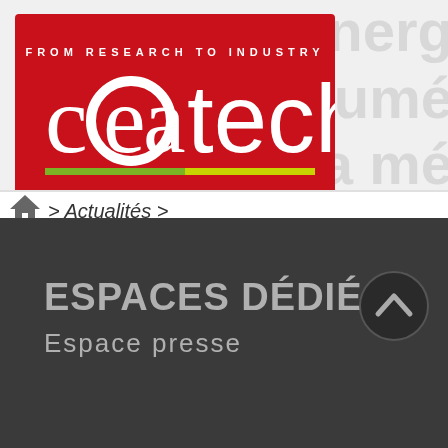[Figure (logo): CEA Tech logo — red background with white text reading 'FROM RESEARCH TO INDUSTRY' and 'cea tech' with a green/yellow underline]
> Actualités >
ESPACES DÉDIÉS
Espace presse